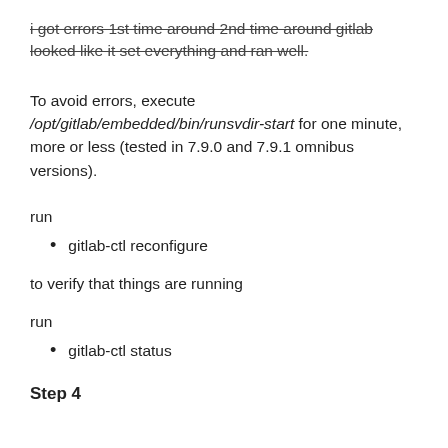i got errors 1st time around 2nd time around gitlab looked like it set everything and ran well. [strikethrough]
To avoid errors, execute /opt/gitlab/embedded/bin/runsvdir-start for one minute, more or less (tested in 7.9.0 and 7.9.1 omnibus versions).
run
gitlab-ctl reconfigure
to verify that things are running
run
gitlab-ctl status
Step 4